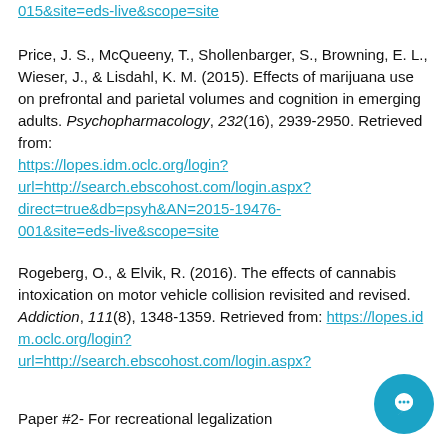015&site=eds-live&scope=site
Price, J. S., McQueeny, T., Shollenbarger, S., Browning, E. L., Wieser, J., & Lisdahl, K. M. (2015). Effects of marijuana use on prefrontal and parietal volumes and cognition in emerging adults. Psychopharmacology, 232(16), 2939-2950. Retrieved from: https://lopes.idm.oclc.org/login?url=http://search.ebscohost.com/login.aspx?direct=true&db=psyh&AN=2015-19476-001&site=eds-live&scope=site
Rogeberg, O., & Elvik, R. (2016). The effects of cannabis intoxication on motor vehicle collision revisited and revised. Addiction, 111(8), 1348-1359. Retrieved from: https://lopes.idm.oclc.org/login?url=http://search.ebscohost.com/login.aspx?
Paper #2- For recreational legalization